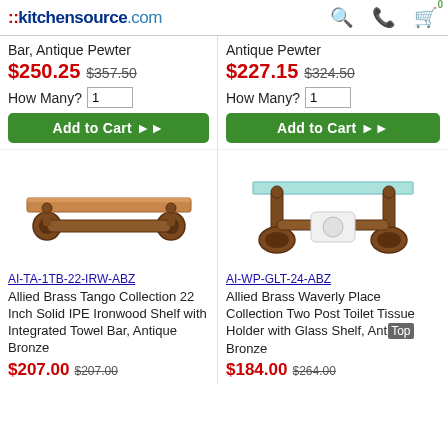::kitchensource.com
Bar, Antique Pewter
$250.25 $357.50
How Many? 1
Add to Cart ▶▶
Antique Pewter
$227.15 $324.50
How Many? 1
Add to Cart ▶▶
[Figure (photo): Allied Brass Tango Collection 22 Inch Solid IPE Ironwood Shelf with Integrated Towel Bar, Antique Bronze product photo]
AI-TA-1TB-22-IRW-ABZ
Allied Brass Tango Collection 22 Inch Solid IPE Ironwood Shelf with Integrated Towel Bar, Antique Bronze
$207.00 $207.00
[Figure (photo): Allied Brass Waverly Place Collection Two Post Toilet Tissue Holder with Glass Shelf, Antique Bronze product photo]
AI-WP-GLT-24-ABZ
Allied Brass Waverly Place Collection Two Post Toilet Tissue Holder with Glass Shelf, Antique Bronze
$184.00 $264.00